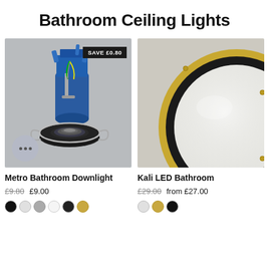Bathroom Ceiling Lights
[Figure (photo): Metro Bathroom Downlight product photo showing a recessed downlight fitting with blue housing, GU10 bulb socket, and spring clips, on grey background. Badge reads SAVE £0.80]
Metro Bathroom Downlight
£9.80  £9.00
[Figure (photo): Kali LED Bathroom light product photo showing a circular flush ceiling light with gold/brass ring and frosted white glass, partially cropped on right side]
Kali LED Bathroom
£29.00  from £27.00